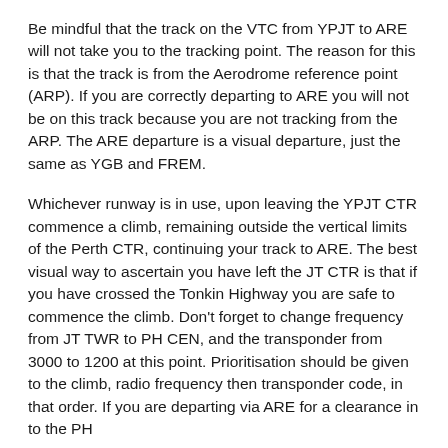Be mindful that the track on the VTC from YPJT to ARE will not take you to the tracking point. The reason for this is that the track is from the Aerodrome reference point (ARP). If you are correctly departing to ARE you will not be on this track because you are not tracking from the ARP. The ARE departure is a visual departure, just the same as YGB and FREM.
Whichever runway is in use, upon leaving the YPJT CTR commence a climb, remaining outside the vertical limits of the Perth CTR, continuing your track to ARE. The best visual way to ascertain you have left the JT CTR is that if you have crossed the Tonkin Highway you are safe to commence the climb. Don't forget to change frequency from JT TWR to PH CEN, and the transponder from 3000 to 1200 at this point. Prioritisation should be given to the climb, radio frequency then transponder code, in that order. If you are departing via ARE for a clearance in to the PH